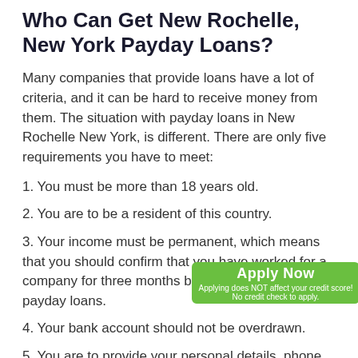Who Can Get New Rochelle, New York Payday Loans?
Many companies that provide loans have a lot of criteria, and it can be hard to receive money from them. The situation with payday loans in New Rochelle New York, is different. There are only five requirements you have to meet:
1. You must be more than 18 years old.
2. You are to be a resident of this country.
3. Your income must be permanent, which means that you should confirm that you have worked for a company for three months by the time you apply for payday loans.
4. Your bank account should not be overdrawn.
5. You are to provide your personal details, phone number, and email address.
As you can see, payday loans requirements in New...